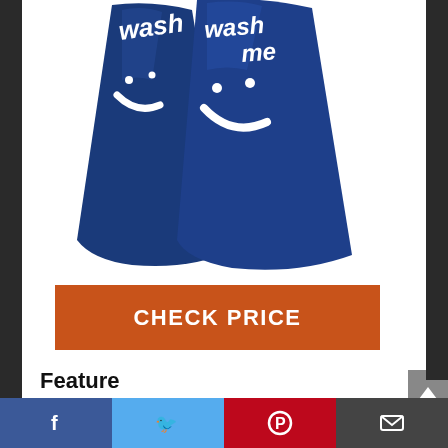[Figure (photo): Two navy blue laundry bags with white 'wash me' text and smiley face graphics, shown on a white background.]
CHECK PRICE
Feature
RIP-STOP AND PREVENT UNRAVEL – Extra-tough double-stitched seam